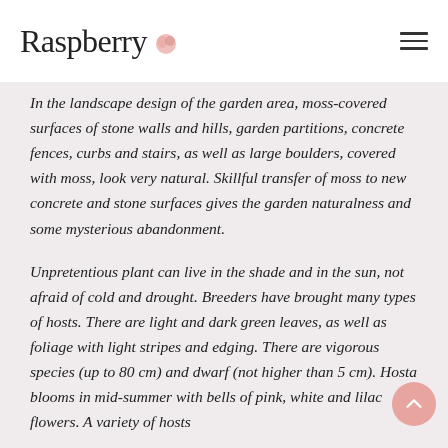Raspberry
In the landscape design of the garden area, moss-covered surfaces of stone walls and hills, garden partitions, concrete fences, curbs and stairs, as well as large boulders, covered with moss, look very natural. Skillful transfer of moss to new concrete and stone surfaces gives the garden naturalness and some mysterious abandonment.
Unpretentious plant can live in the shade and in the sun, not afraid of cold and drought. Breeders have brought many types of hosts. There are light and dark green leaves, as well as foliage with light stripes and edging. There are vigorous species (up to 80 cm) and dwarf (not higher than 5 cm). Hosta blooms in mid-summer with bells of pink, white and lilac flowers. A variety of hosts